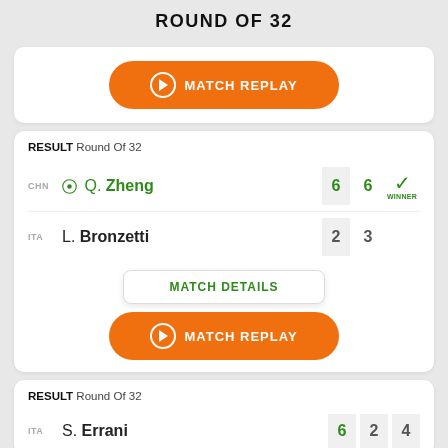ROUND OF 32
[Figure (other): Match Replay button (orange pill button with play icon)]
RESULT Round Of 32
CHN Q. Zheng 6 6 WINNER
ITA L. Bronzetti 2 3
MATCH DETAILS
[Figure (other): Match Replay button (orange pill button with play icon)]
RESULT Round Of 32
ITA S. Errani 6 2 4